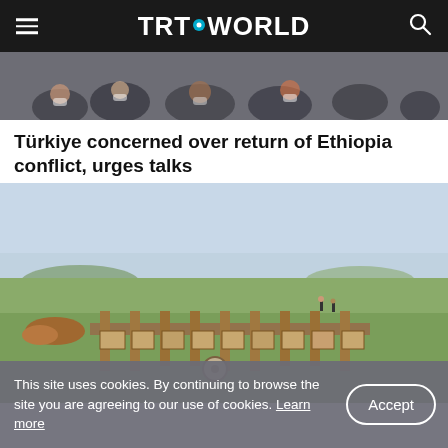TRT WORLD
[Figure (photo): Crowd of people wearing masks, outdoor gathering]
Türkiye concerned over return of Ethiopia conflict, urges talks
[Figure (photo): Aerial view of an archaeological excavation site on a flat green plain, showing rectangular trenches and earthworks]
This site uses cookies. By continuing to browse the site you are agreeing to our use of cookies. Learn more